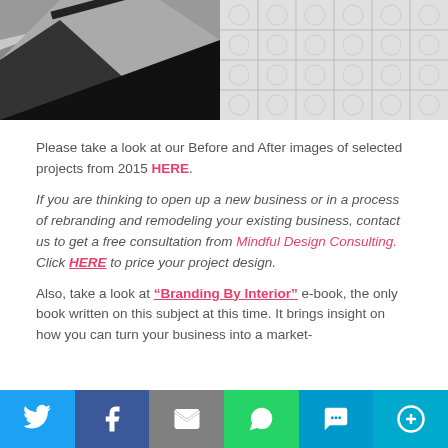[Figure (photo): Split photo showing before (dark staircase/interior) and after (light grid pattern wall) images of a design project]
Please take a look at our Before and After images of selected projects from 2015 HERE.
If you are thinking to open up a new business or in a process of rebranding and remodeling your existing business, contact us to get a free consultation from Mindful Design Consulting. Click HERE to price your project design.
Also, take a look at "Branding By Interior" e-book, the only book written on this subject at this time. It brings insight on how you can turn your business into a market-
[Figure (infographic): Social sharing bar with Twitter, Facebook, Email, WhatsApp, SMS, and More buttons]